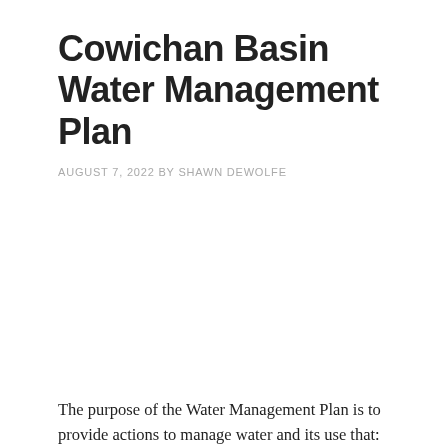Cowichan Basin Water Management Plan
AUGUST 7, 2022 BY SHAWN DEWOLFE
The purpose of the Water Management Plan is to provide actions to manage water and its use that: